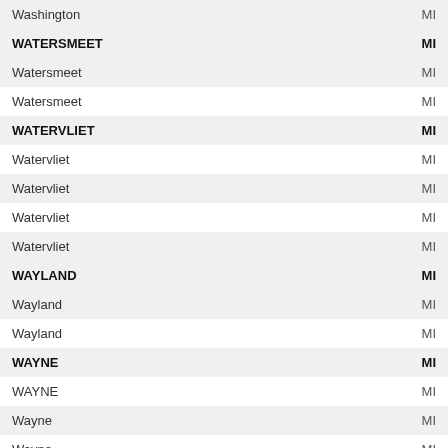| Name | State |
| --- | --- |
| Washington | MI |
| WATERSMEET | MI |
| Watersmeet | MI |
| Watersmeet | MI |
| WATERVLIET | MI |
| Watervliet | MI |
| Watervliet | MI |
| Watervliet | MI |
| Watervliet | MI |
| WAYLAND | MI |
| Wayland | MI |
| Wayland | MI |
| WAYNE | MI |
| WAYNE | MI |
| Wayne | MI |
| Wayne | MI |
| Wayne | MI |
| Wayne | MI |
| Wayne | MI |